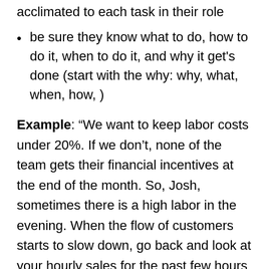acclimated to each task in their role
be sure they know what to do, how to do it, when to do it, and why it get's done (start with the why: why, what, when, how, )
Example: “We want to keep labor costs under 20%. If we don’t, none of the team gets their financial incentives at the end of the month. So, Josh, sometimes there is a high labor in the evening. When the flow of customers starts to slow down, go back and look at your hourly sales for the past few hours and your labor percentage. If sales have been under $500 per